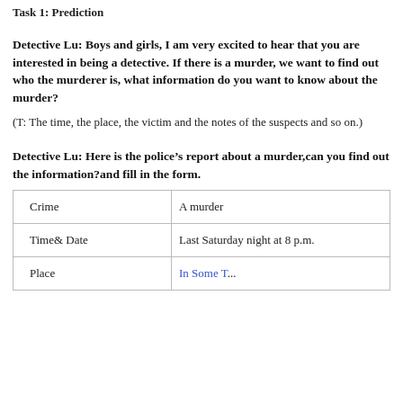Task 1: Prediction
Detective Lu: Boys and girls, I am very excited to hear that you are interested in being a detective. If there is a murder, we want to find out who the murderer is, what information do you want to know about the murder?
(T: The time, the place, the victim and the notes of the suspects and so on.)
Detective Lu: Here is the police’s report about a murder,can you find out the information?and fill in the form.
|  |  |
| --- | --- |
| Crime | A murder |
| Time& Date | Last Saturday night at 8 p.m. |
| Place | In Some T... |